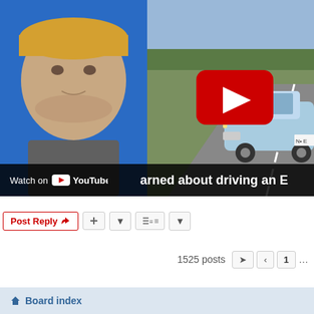[Figure (screenshot): YouTube video thumbnail showing a man in a baseball cap on the left (blue background) and an electric car driving on a road on the right. A red YouTube play button is overlaid in the center-right. At the bottom a dark bar shows 'Watch on YouTube' and partial title text 'arned about driving an E']
Post Reply
1525 posts
1
Board index